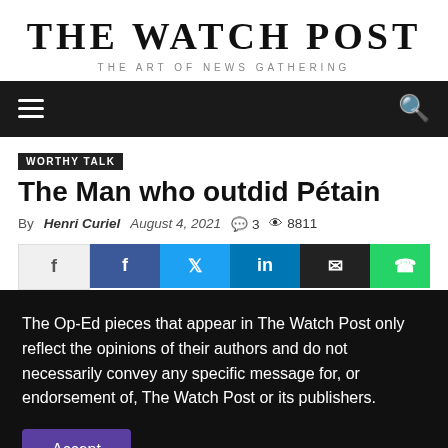THE WATCH POST
THE ART OF NEWS GATHERING
[Figure (screenshot): Navigation bar with hamburger menu icon on left and search icon on right, dark background]
WORTHY TALK
The Man who outdid Pétain
By Henri Curiel  August 4, 2021  💬 3  👁 8811
[Figure (screenshot): Social share buttons row: plain, Facebook, Twitter, LinkedIn, Email, WhatsApp]
The Op-Ed pieces that appear in The Watch Post only reflect the opinions of their authors and do not necessarily convey any specific message for, or endorsement of, The Watch Post or its publishers.
Accept